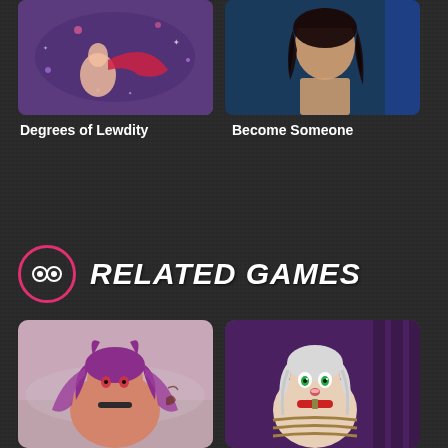[Figure (illustration): Thumbnail for game 'Degrees of Lewdity' - anime style illustration on purple background]
Degrees of Lewdity
[Figure (photo): Thumbnail for game 'Become Someone' - dark haired person on blue background]
Become Someone
RELATED GAMES
[Figure (illustration): Related game thumbnail - anime catgirl character with purple hair]
[Figure (illustration): Related game thumbnail - anime character with collar on purple background]